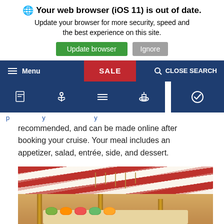🌐 Your web browser (iOS 11) is out of date. Update your browser for more security, speed and the best experience on this site. [Update browser] [Ignore]
[Figure (screenshot): Website navigation bar with menu hamburger icon, SALE button in red, and CLOSE SEARCH with magnifier icon on dark blue background]
[Figure (screenshot): Second navigation icon bar with document, anchor, list, boat/ferry, and checkmark icons on dark blue background with white gaps]
recommended, and can be made online after booking your cruise. Your meal includes an appetizer, salad, entrée, side, and dessert.
[Figure (photo): Interior photo of a cruise ship buffet restaurant with red and white striped ceiling, wooden pillars, food display counters with various dishes, and warm lighting]